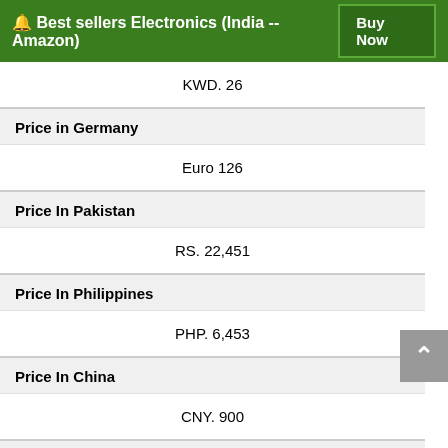🔔 Best sellers Electronics (India -- Amazon) | Buy Now
| KWD. 26 |
| Price in Germany |
| Euro 126 |
| Price In Pakistan |
| RS. 22,451 |
| Price In Philippines |
| PHP. 6,453 |
| Price In China |
| CNY. 900 |
| Price in Ghana |
| GHS 700 |